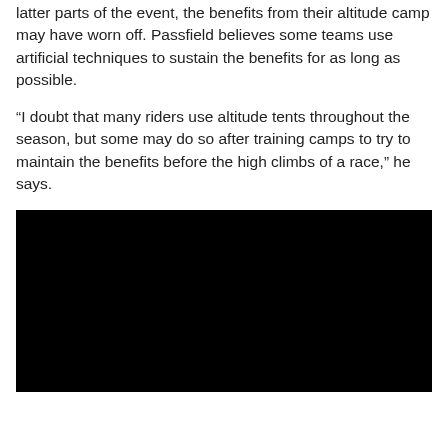latter parts of the event, the benefits from their altitude camp may have worn off. Passfield believes some teams use artificial techniques to sustain the benefits for as long as possible.
“I doubt that many riders use altitude tents throughout the season, but some may do so after training camps to try to maintain the benefits before the high climbs of a race,” he says.
[Figure (photo): A large black rectangular image, likely a video embed or photo that has been redacted/blacked out.]